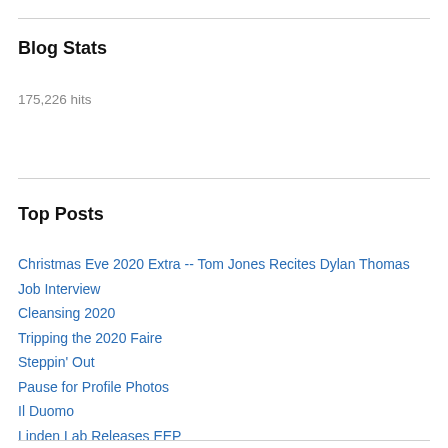Blog Stats
175,226 hits
Top Posts
Christmas Eve 2020 Extra -- Tom Jones Recites Dylan Thomas
Job Interview
Cleansing 2020
Tripping the 2020 Faire
Steppin' Out
Pause for Profile Photos
Il Duomo
Linden Lab Releases EEP
REBLOG: Travel in dreams…. 206
Côte Méditerranée